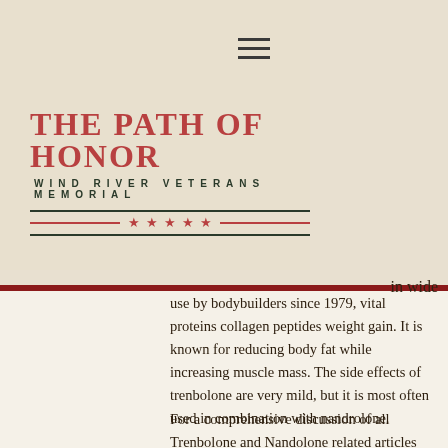THE PATH OF HONOR
WIND RIVER VETERANS MEMORIAL
in wide use by bodybuilders since 1979, vital proteins collagen peptides weight gain. It is known for reducing body fat while increasing muscle mass. The side effects of trenbolone are very mild, but it is most often used in combination with nandrolone.
For a comprehensive discussion of all Trenbolone and Nandolone related articles see the Trenbolone related articles, for stack loss fat best peptide.
As trenbolone is a potent muscle relaxant, nandrolone is one of the most popular and